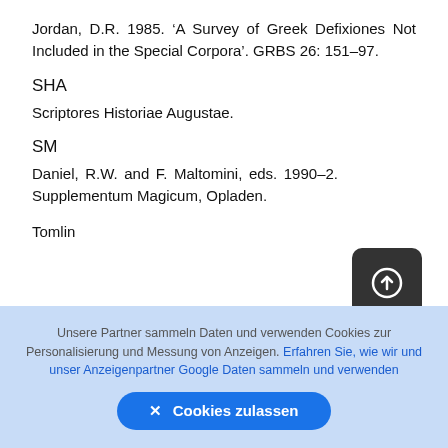Jordan, D.R. 1985. ‘A Survey of Greek Defixiones Not Included in the Special Corpora’. GRBS 26: 151–97.
SHA
Scriptores Historiae Augustae.
SM
Daniel, R.W. and F. Maltomini, eds. 1990–2. Supplementum Magicum, Opladen.
Tomlin
Unsere Partner sammeln Daten und verwenden Cookies zur Personalisierung und Messung von Anzeigen. Erfahren Sie, wie wir und unser Anzeigenpartner Google Daten sammeln und verwenden